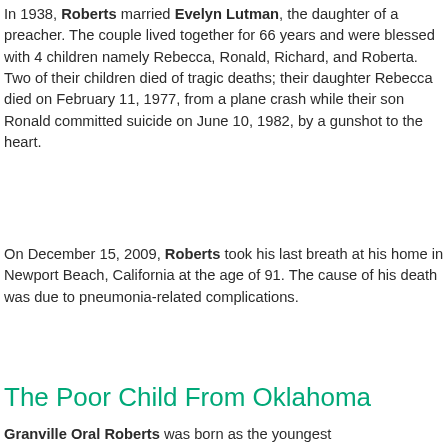In 1938, Roberts married Evelyn Lutman, the daughter of a preacher. The couple lived together for 66 years and were blessed with 4 children namely Rebecca, Ronald, Richard, and Roberta. Two of their children died of tragic deaths; their daughter Rebecca died on February 11, 1977, from a plane crash while their son Ronald committed suicide on June 10, 1982, by a gunshot to the heart.
On December 15, 2009, Roberts took his last breath at his home in Newport Beach, California at the age of 91. The cause of his death was due to pneumonia-related complications.
The Poor Child From Oklahoma
Granville Oral Roberts was born as the youngest...